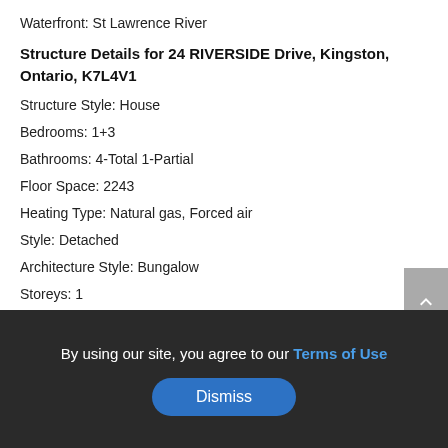Waterfront:  St Lawrence River
Structure Details for 24 RIVERSIDE Drive, Kingston, Ontario, K7L4V1
Structure Style:  House
Bedrooms:  1+3
Bathrooms:  4-Total 1-Partial
Floor Space:  2243
Heating Type:  Natural gas, Forced air
Style:  Detached
Architecture Style:  Bungalow
Storeys:  1
Basement Type:  Full (Finished)
Cooling Type:  Central air conditioning
By using our site, you agree to our Terms of Use
Dismiss